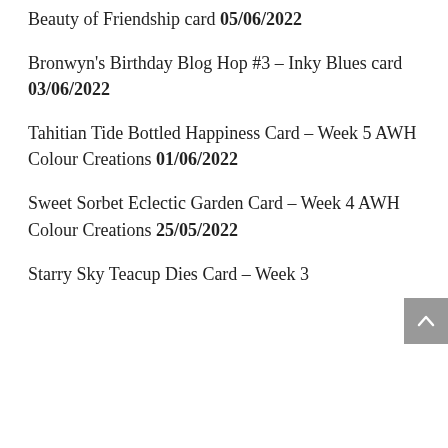Beauty of Friendship card 05/06/2022
Bronwyn's Birthday Blog Hop #3 – Inky Blues card 03/06/2022
Tahitian Tide Bottled Happiness Card – Week 5 AWH Colour Creations 01/06/2022
Sweet Sorbet Eclectic Garden Card – Week 4 AWH Colour Creations 25/05/2022
Starry Sky Teacup Dies Card – Week 3